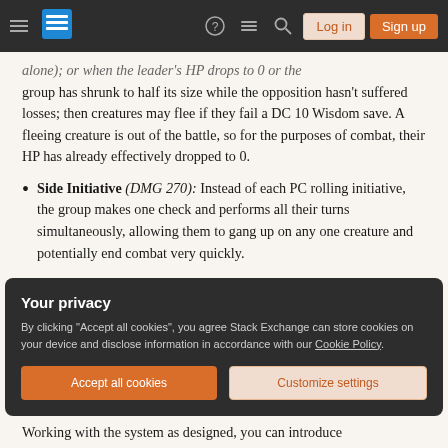Stack Exchange navigation bar with hamburger menu, logo, help, chat, search icons, Log in and Sign up buttons
alone); or when the leader's HP drops to 0 or the group has shrunk to half its size while the opposition hasn't suffered losses; then creatures may flee if they fail a DC 10 Wisdom save. A fleeing creature is out of the battle, so for the purposes of combat, their HP has already effectively dropped to 0.
Side Initiative (DMG 270): Instead of each PC rolling initiative, the group makes one check and performs all their turns simultaneously, allowing them to gang up on any one creature and potentially end combat very quickly.
Your privacy
By clicking "Accept all cookies", you agree Stack Exchange can store cookies on your device and disclose information in accordance with our Cookie Policy.
Working with the system as designed, you can introduce